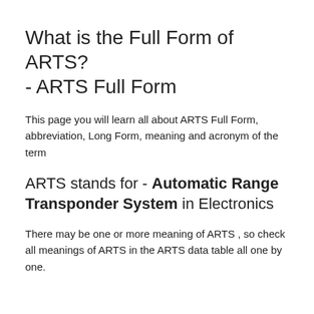What is the Full Form of ARTS? - ARTS Full Form
This page you will learn all about ARTS Full Form, abbreviation, Long Form, meaning and acronym of the term
ARTS stands for - Automatic Range Transponder System in Electronics
There may be one or more meaning of ARTS , so check all meanings of ARTS in the ARTS data table all one by one.